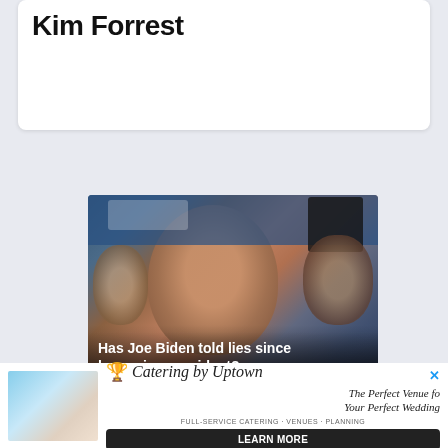Kim Forrest
[Figure (photo): Photo of Joe Biden at a crowded event with cameras and people in background, with poll question overlaid at bottom]
Has Joe Biden told lies since becoming president?
Yes
No
[Figure (photo): Advertisement banner: Catering by Uptown - The Perfect Venue for Your Perfect Wedding - LEARN MORE]